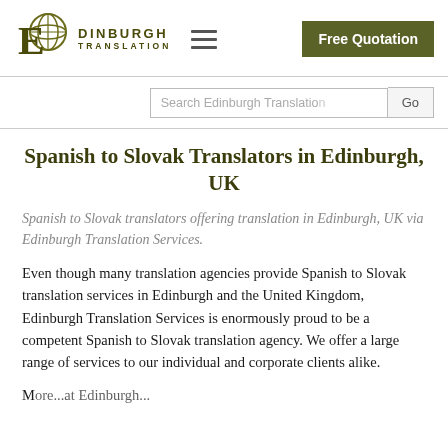[Figure (logo): Edinburgh Translation logo with globe icon and stylized E, text Edinburgh Translation]
Free Quotation
Search Edinburgh Translation
Spanish to Slovak Translators in Edinburgh, UK
Spanish to Slovak translators offering translation in Edinburgh, UK via Edinburgh Translation Services.
Even though many translation agencies provide Spanish to Slovak translation services in Edinburgh and the United Kingdom, Edinburgh Translation Services is enormously proud to be a competent Spanish to Slovak translation agency. We offer a large range of services to our individual and corporate clients alike.
More...